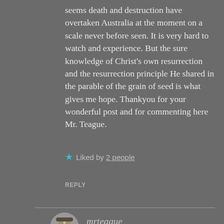seems death and destruction have overtaken Australia at the moment on a scale never before seen. It is very hard to watch and experience. But the sure knowledge of Christ's own resurrection and the resurrection principle He shared in the parable of the grain of seed is what gives me hope. Thankyou for your wonderful post and for commenting here Mr. Teague.
★ Liked by 2 people
REPLY
mrteague